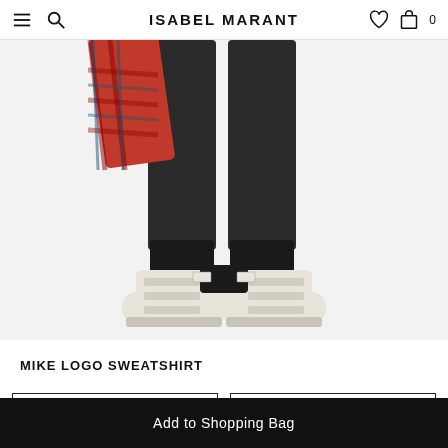ISABEL MARANT
[Figure (photo): Lower body of a person wearing dark/black jeans and cream/off-white high-top velcro sneakers with a plaid shirt tied around waist, on white background.]
MIKE LOGO SWEATSHIRT
Dropdown selector 1
Dropdown selector 2
Add to Shopping Bag